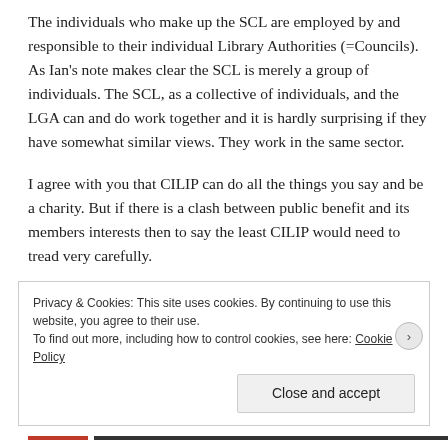The individuals who make up the SCL are employed by and responsible to their individual Library Authorities (=Councils). As Ian's note makes clear the SCL is merely a group of individuals. The SCL, as a collective of individuals, and the LGA can and do work together and it is hardly surprising if they have somewhat similar views. They work in the same sector.
I agree with you that CILIP can do all the things you say and be a charity. But if there is a clash between public benefit and its members interests then to say the least CILIP would need to tread very carefully.
Privacy & Cookies: This site uses cookies. By continuing to use this website, you agree to their use.
To find out more, including how to control cookies, see here: Cookie Policy
Close and accept